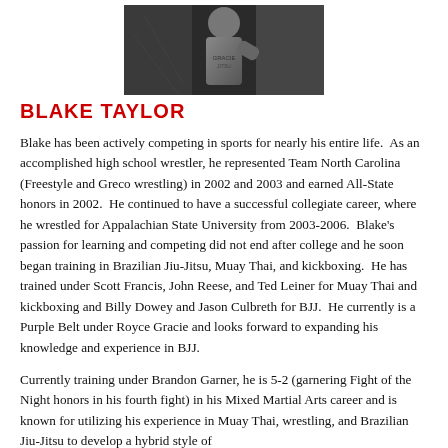[Figure (photo): Black and white photo of Blake Taylor, partially cropped at top of page]
BLAKE TAYLOR
Blake has been actively competing in sports for nearly his entire life.  As an accomplished high school wrestler, he represented Team North Carolina (Freestyle and Greco wrestling) in 2002 and 2003 and earned All-State honors in 2002.  He continued to have a successful collegiate career, where he wrestled for Appalachian State University from 2003-2006.  Blake's passion for learning and competing did not end after college and he soon began training in Brazilian Jiu-Jitsu, Muay Thai, and kickboxing.  He has trained under Scott Francis, John Reese, and Ted Leiner for Muay Thai and kickboxing and Billy Dowey and Jason Culbreth for BJJ.  He currently is a Purple Belt under Royce Gracie and looks forward to expanding his knowledge and experience in BJJ.
Currently training under Brandon Garner, he is 5-2 (garnering Fight of the Night honors in his fourth fight) in his Mixed Martial Arts career and is known for utilizing his experience in Muay Thai, wrestling, and Brazilian Jiu-Jitsu to develop a hybrid style of